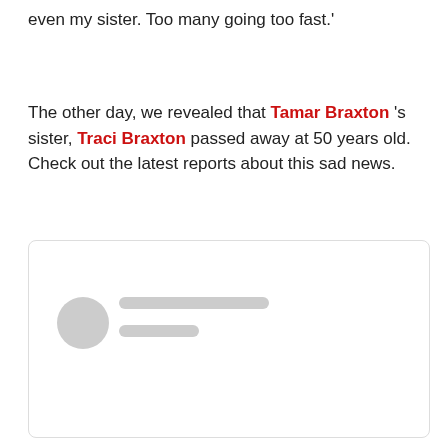even my sister. Too many going too fast.'
The other day, we revealed that Tamar Braxton 's sister, Traci Braxton passed away at 50 years old. Check out the latest reports about this sad news.
[Figure (screenshot): A social media post card embed with a redacted/blurred user profile: circular avatar placeholder and two blurred text bars representing a username and handle.]